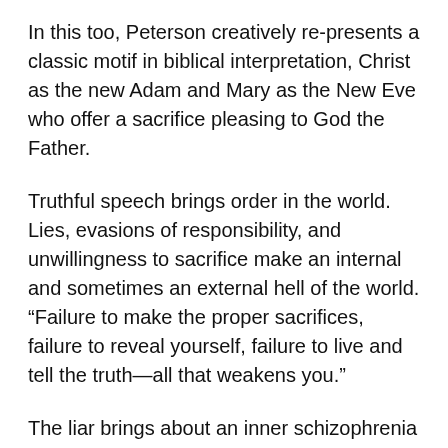In this too, Peterson creatively re-presents a classic motif in biblical interpretation, Christ as the new Adam and Mary as the New Eve who offer a sacrifice pleasing to God the Father.
Truthful speech brings order in the world. Lies, evasions of responsibility, and unwillingness to sacrifice make an internal and sometimes an external hell of the world. “Failure to make the proper sacrifices, failure to reveal yourself, failure to live and tell the truth—all that weakens you.”
The liar brings about an inner schizophrenia and self-weakening. “If you pay attention to what you do and how you are learning to feel, states of internal...